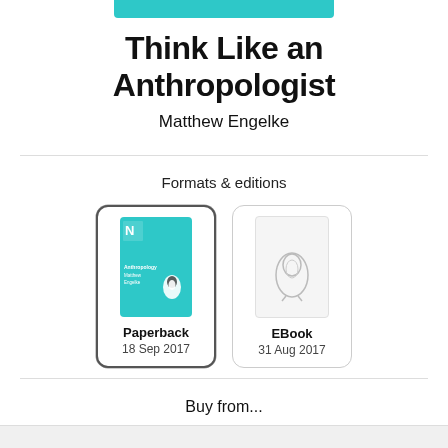[Figure (other): Teal/cyan decorative bar at top center of page]
Think Like an Anthropologist
Matthew Engelke
Formats & editions
[Figure (photo): Paperback book cover - teal background with Penguin logo and text 'Anthropology Matthew Engelke']
Paperback
18 Sep 2017
[Figure (illustration): EBook edition placeholder with Penguin logo outline on light grey background]
EBook
31 Aug 2017
Buy from...